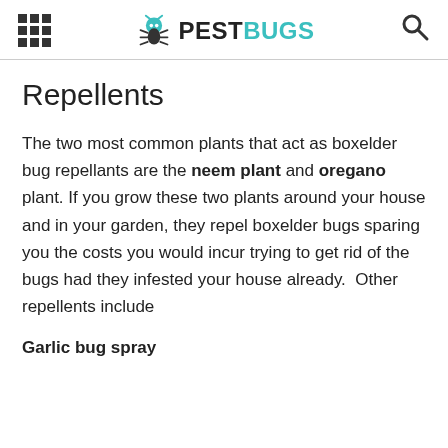PESTBUGS
Repellents
The two most common plants that act as boxelder bug repellants are the neem plant and oregano plant. If you grow these two plants around your house and in your garden, they repel boxelder bugs sparing you the costs you would incur trying to get rid of the bugs had they infested your house already.  Other repellents include
Garlic bug spray